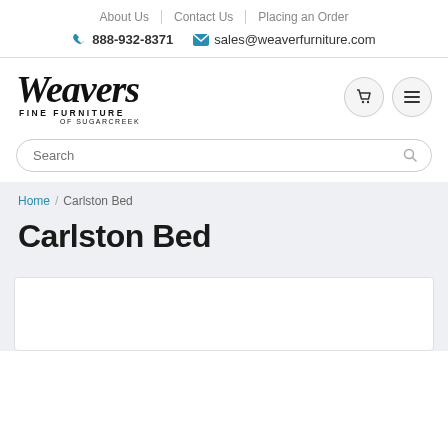About Us | Contact Us | Placing an Order
888-932-8371  sales@weaverfurniture.com
[Figure (logo): Weavers Fine Furniture of Sugarcreek logo]
Search
Home / Carlston Bed
Carlston Bed